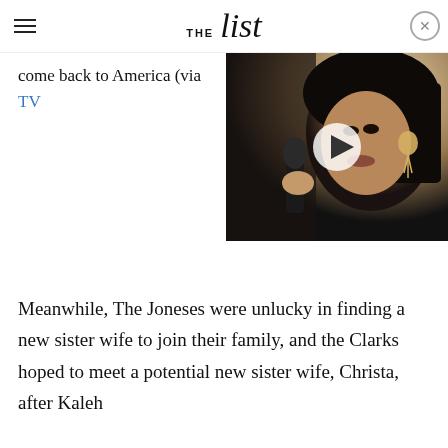THE list
come back to America (via TV
[Figure (photo): Video thumbnail showing a woman singing into a microphone with ornate earrings, with a play button overlay]
Meanwhile, The Joneses were unlucky in finding a new sister wife to join their family, and the Clarks hoped to meet a potential new sister wife, Christa, after Kaleh